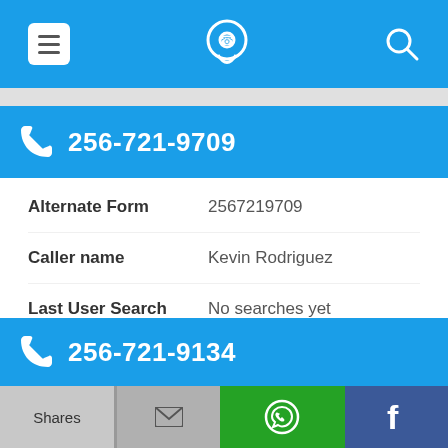Navigation bar with menu, phone-locator logo, and search icons
256-721-9709
| Field | Value |
| --- | --- |
| Alternate Form | 2567219709 |
| Caller name | Kevin Rodriguez |
| Last User Search | No searches yet |
| Comments | 0 |
256-721-9134
Shares | (email) | (WhatsApp) | f (Facebook)